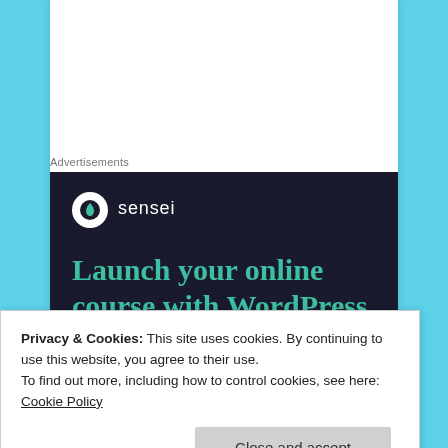Advertisements
[Figure (screenshot): Sensei advertisement banner with dark navy background. Sensei logo (white circle with tree icon) and 'sensei' text in white. Headline in teal/green: 'Launch your online course with WordPress']
Janice M. Sachs
January 15, 2017 at 9:56 am
Privacy & Cookies: This site uses cookies. By continuing to use this website, you agree to their use.
To find out more, including how to control cookies, see here: Cookie Policy
Close and accept